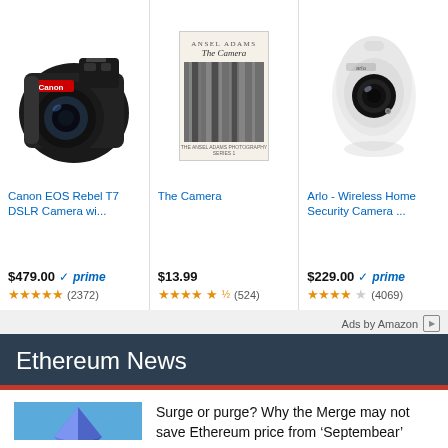[Figure (photo): Canon EOS Rebel T7 DSLR Camera product photo]
[Figure (photo): Ansel Adams - The Camera book cover]
[Figure (photo): Arlo wireless home security camera product photo]
Canon EOS Rebel T7 DSLR Camera wi...
The Camera
Arlo - Wireless Home Security Camera ...
$479.00 prime (2372)
$13.99 (524)
$229.00 prime (4069)
Ads by Amazon
Ethereum News
[Figure (photo): Ethereum crystal/gem illustration with colorful background]
Surge or purge? Why the Merge may not save Ethereum price from ‘Septembear’
[Figure (photo): Partial news thumbnail image]
Saylor gets sued, FBI warns about DeFi exploits